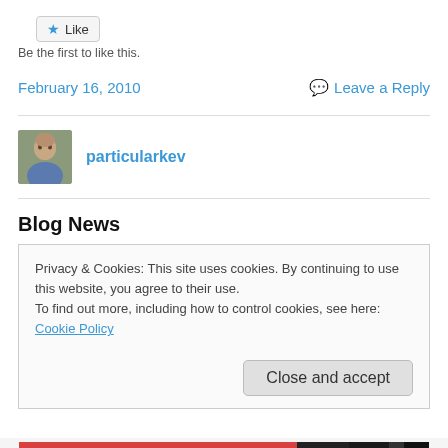[Figure (other): Like button with star icon]
Be the first to like this.
February 16, 2010
Leave a Reply
[Figure (photo): Avatar photo of particularkev]
particularkev
Blog News
Privacy & Cookies: This site uses cookies. By continuing to use this website, you agree to their use.
To find out more, including how to control cookies, see here: Cookie Policy
Close and accept